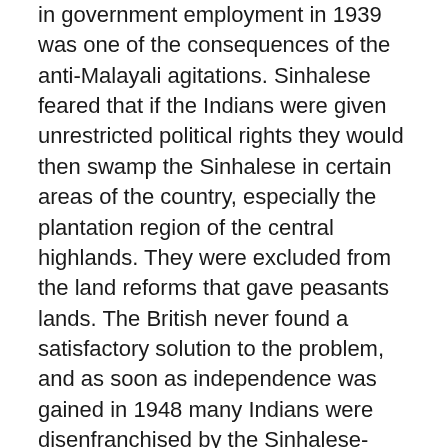in government employment in 1939 was one of the consequences of the anti-Malayali agitations. Sinhalese feared that if the Indians were given unrestricted political rights they would then swamp the Sinhalese in certain areas of the country, especially the plantation region of the central highlands. They were excluded from the land reforms that gave peasants lands. The British never found a satisfactory solution to the problem, and as soon as independence was gained in 1948 many Indians were disenfranchised by the Sinhalese-dominated government and left effectively stateless. By 1964 there were over a million of these stateless people in Sri Lanka. Prolonged negotiations between Prime Ministers Lal Bahadur Shastri of India and Mrs. Bandaranaike concluded a treaty by which Sri Lanka agreed to grant citizenship to 300,000 along with their natural increase and India promised to repatriate 535,000 over a period of 15 years. The